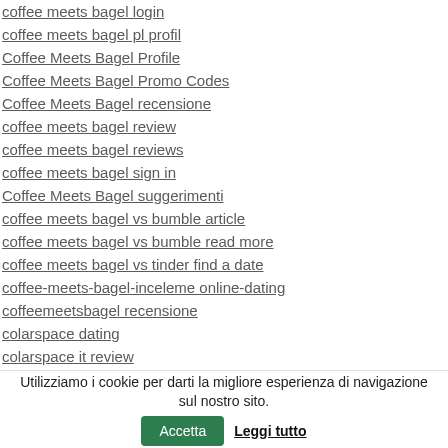coffee meets bagel login
coffee meets bagel pl profil
Coffee Meets Bagel Profile
Coffee Meets Bagel Promo Codes
Coffee Meets Bagel recensione
coffee meets bagel review
coffee meets bagel reviews
coffee meets bagel sign in
Coffee Meets Bagel suggerimenti
coffee meets bagel vs bumble article
coffee meets bagel vs bumble read more
coffee meets bagel vs tinder find a date
coffee-meets-bagel-inceleme online-dating
coffeemeetsbagel recensione
colarspace dating
colarspace it review
Utilizziamo i cookie per darti la migliore esperienza di navigazione sul nostro sito. Accetta Leggi tutto